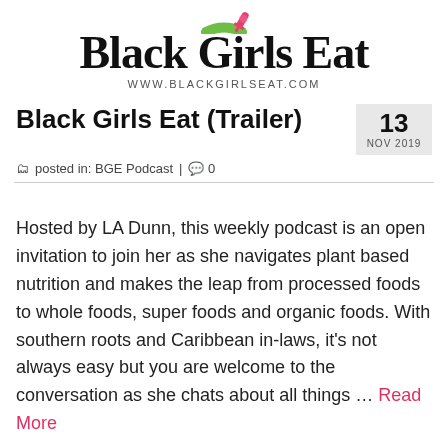[Figure (logo): Black Girls Eat logo with decorative script text, fork/utensil icon in green and pink, and website URL www.blackgirlseat.com]
Black Girls Eat (Trailer)
13 NOV 2019
posted in: BGE Podcast | 0
Hosted by LA Dunn, this weekly podcast is an open invitation to join her as she navigates plant based nutrition and makes the leap from processed foods to whole foods, super foods and organic foods. With southern roots and Caribbean in-laws, it's not always easy but you are welcome to the conversation as she chats about all things … Read More